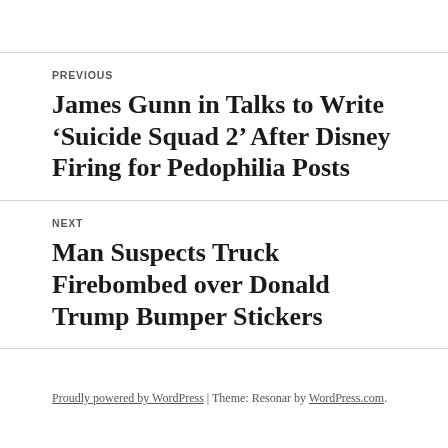PREVIOUS
James Gunn in Talks to Write ‘Suicide Squad 2’ After Disney Firing for Pedophilia Posts
NEXT
Man Suspects Truck Firebombed over Donald Trump Bumper Stickers
Proudly powered by WordPress | Theme: Resonar by WordPress.com.